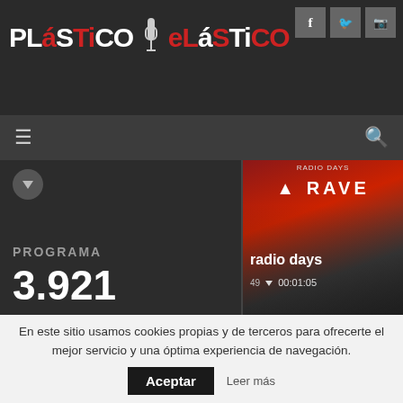[Figure (screenshot): Plástico Elástico radio website screenshot with logo, navigation, program cards, player bar, and cookie consent banner]
PLáSTiCO eLáSTiCO
Social icons: f (Facebook), Twitter, Instagram
PROGRAMA 3.921
radio days ▼ 00:01:05
Black Silhouettes (2021 / SWEDEN / MASSPRODUKTION) - EP - Black Silhouettes
bubble gum orchestra ▼ 00:05:00
bra...
Sorry - your browser is not supported. Please update your browser or install another such
'For My Friends' (2021) / UK / SELF RELEASED) - From the upcoming SG
En este sitio usamos cookies propias y de terceros para ofrecerte el mejor servicio y una óptima experiencia de navegación.
Aceptar
Leer más